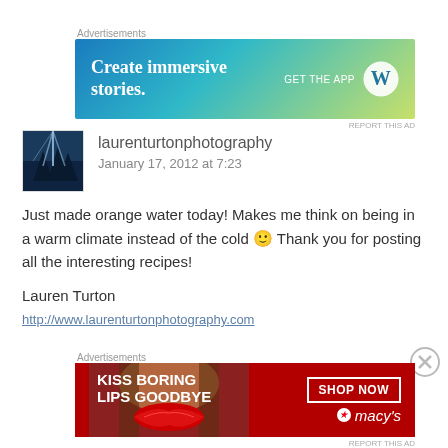[Figure (other): WordPress advertisement banner: 'Create immersive stories. GET THE APP' with WordPress logo, blue-green-yellow gradient background]
laurenturtonphotography
January 17, 2012 at 7:23
Just made orange water today! Makes me think on being in a warm climate instead of the cold 🙂 Thank you for posting all the interesting recipes!
Lauren Turton
http://www.laurenturtonphotography.com
[Figure (other): Macy's advertisement banner: 'KISS BORING LIPS GOODBYE' with SHOP NOW button and Macy's star logo, red background with woman's lips photo]